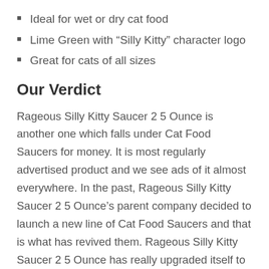Ideal for wet or dry cat food
Lime Green with “Silly Kitty” character logo
Great for cats of all sizes
Our Verdict
Rageous Silly Kitty Saucer 2 5 Ounce is another one which falls under Cat Food Saucers for money. It is most regularly advertised product and we see ads of it almost everywhere. In the past, Rageous Silly Kitty Saucer 2 5 Ounce ’s parent company decided to launch a new line of Cat Food Saucers and that is what has revived them. Rageous Silly Kitty Saucer 2 5 Ounce has really upgraded itself to the current style and market changes and the best part of Rageous Silly Kitty Saucer 2 5 Ounce is amazing features.